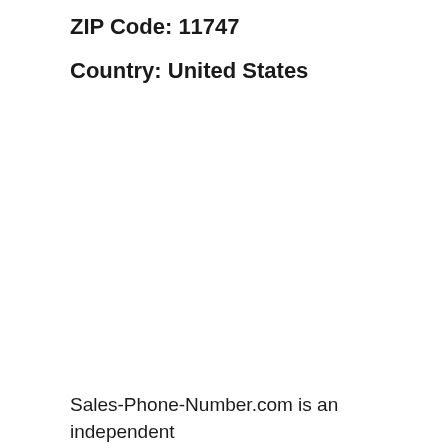ZIP Code: 11747
Country: United States
Sales-Phone-Number.com is an independent